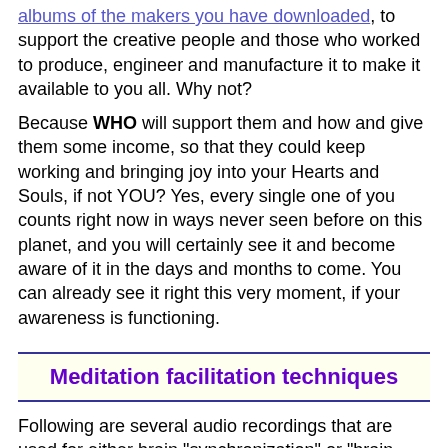albums of the makers you have downloaded, to support the creative people and those who worked to produce, engineer and manufacture it to make it available to you all. Why not?
Because WHO will support them and how and give them some income, so that they could keep working and bringing joy into your Hearts and Souls, if not YOU? Yes, every single one of you counts right now in ways never seen before on this planet, and you will certainly see it and become aware of it in the days and months to come. You can already see it right this very moment, if your awareness is functioning.
Meditation facilitation techniques
Following are several audio recordings that are used for either brain "synchronization" or "brain entrainment" to allegedly facilitate the meditative states.
They are created as a result of numerous research studies of brain activity and observing the brainwave